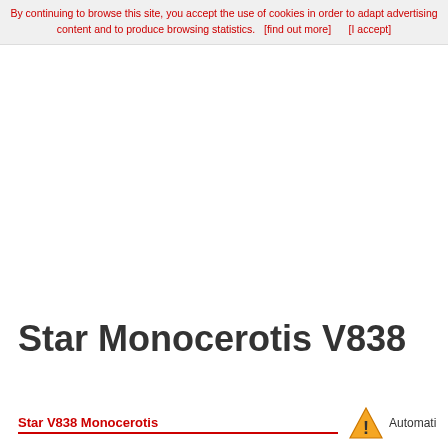By continuing to browse this site, you accept the use of cookies in order to adapt advertising content and to produce browsing statistics.  [find out more]      [I accept]
Star Monocerotis V838
Star V838 Monocerotis
[Figure (other): Warning triangle icon (yellow triangle with exclamation mark) followed by text 'Automati']